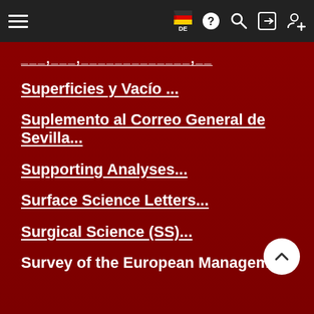Navigation bar with hamburger menu, flag/DE, help, search, login, register icons
___,___, _____________,__
Superficies y Vacío ...
Suplemento al Correo General de Sevilla...
Supporting Analyses...
Surface Science Letters...
Surgical Science (SS)...
Survey of the European Management